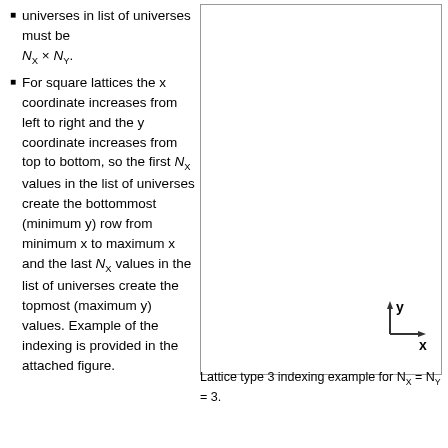universes in list of universes must be N_X × N_Y.
For square lattices the x coordinate increases from left to right and the y coordinate increases from top to bottom, so the first N_X values in the list of universes create the bottommost (minimum y) row from minimum x to maximum x and the last N_X values in the list of universes create the topmost (maximum y) values. Example of the indexing is provided in the attached figure.
[Figure (illustration): Hexagonal lattice grid with 9 hexagons numbered 1-9. Hexagons are blue/steel-blue colored with white numbers. A coordinate axes diagram in the bottom right shows y pointing up and x pointing right. Numbers are arranged: bottom-left 1, then 2, 3 in left column; 4, 5, 6 in middle column; 7, 8, 9 in right column (roughly).]
Lattice type 3 indexing example for N_X = N_Y = 3.